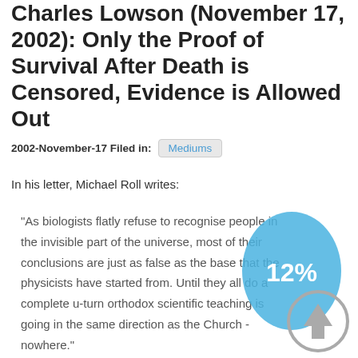Charles Lowson (November 17, 2002): Only the Proof of Survival After Death is Censored, Evidence is Allowed Out
2002-November-17 Filed in: Mediums
In his letter, Michael Roll writes:
"As biologists flatly refuse to recognise people in the invisible part of the universe, most of their conclusions are just as false as the base that the physicists have started from. Until they all do a complete u-turn orthodox scientific teaching is going in the same direction as the Church - nowhere."
[Figure (infographic): Blue oval shape with '12%' text in white, overlaid on the quote text]
[Figure (infographic): Gray circle with upward arrow icon in the bottom right corner]